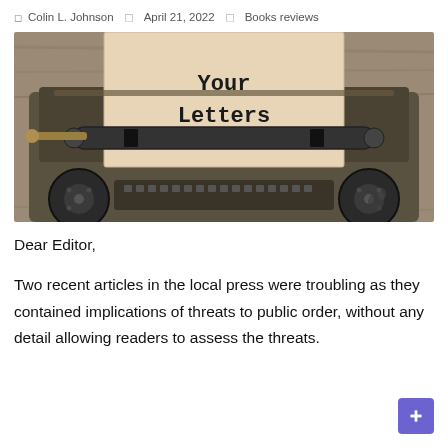Colin L. Johnson  |  April 21, 2022  |  Books reviews
[Figure (photo): A vintage typewriter with a sheet of paper inserted reading 'Your Letters' in typewriter font, on a wooden surface background.]
Dear Editor,
Two recent articles in the local press were troubling as they contained implications of threats to public order, without any detail allowing readers to assess the threats.